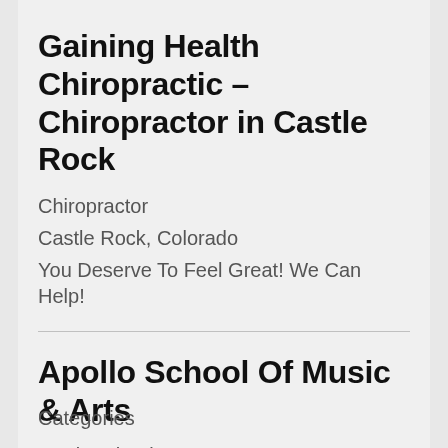Gaining Health Chiropractic – Chiropractor in Castle Rock
Chiropractor
Castle Rock, Colorado
You Deserve To Feel Great! We Can Help!
Apollo School Of Music & Arts
Music school
Boston, Massachusetts
Music and Arts lessons for all ages and all levels
Categories